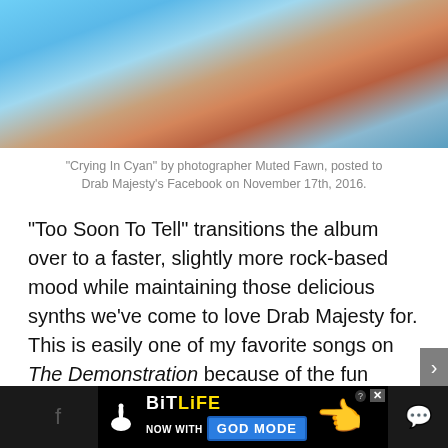[Figure (photo): Close-up photo showing hands against a cyan/blue background, appearing to be 'Crying In Cyan' photo by Muted Fawn]
“Crying In Cyan” by photographer Muted Fawn, posted to Drab Majesty’s Facebook on November 17th, 2016.
“Too Soon To Tell” transitions the album over to a faster, slightly more rock-based mood while maintaining those delicious synths we’ve come to love Drab Majesty for. This is easily one of my favorite songs on The Demonstration because of the fun synth elements layered over everything and the theme in the lyrics about the past and future (this album jumps around through time a lot). You’re definitely gonna want to check out the video! “Cold Souls” is another uptempo track leaning on the darkwave
[Figure (screenshot): BitLife advertisement banner: BitLife - Now with GOD MODE, showing sperm logo, yellow text, blue button and pointing hand graphic]